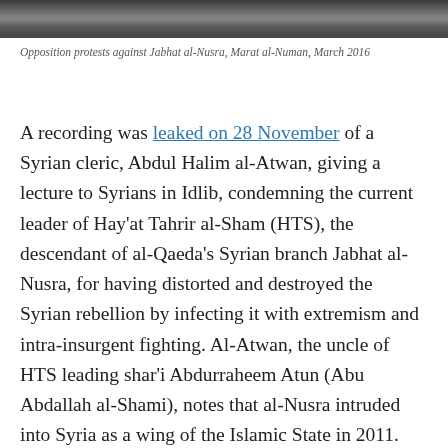[Figure (photo): Crowd photo of opposition protests, partially visible at top of page]
Opposition protests against Jabhat al-Nusra, Marat al-Numan, March 2016
A recording was leaked on 28 November of a Syrian cleric, Abdul Halim al-Atwan, giving a lecture to Syrians in Idlib, condemning the current leader of Hay'at Tahrir al-Sham (HTS), the descendant of al-Qaeda's Syrian branch Jabhat al-Nusra, for having distorted and destroyed the Syrian rebellion by infecting it with extremism and intra-insurgent fighting. Al-Atwan, the uncle of HTS leading shar'i Abdurraheem Atun (Abu Abdallah al-Shami), notes that al-Nusra intruded into Syria as a wing of the Islamic State in 2011. This is only a small demonstration of the continued resistance among